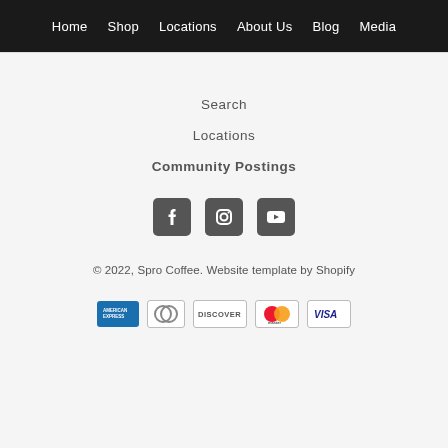Home  Shop  Locations  About Us  Blog  Media
Search
Locations
Community Postings
[Figure (illustration): Social media icons: Facebook, Instagram, YouTube]
© 2022, Spro Coffee. Website template by Shopify
[Figure (illustration): Payment method icons: American Express, Diners Club, Discover, Mastercard, Visa]